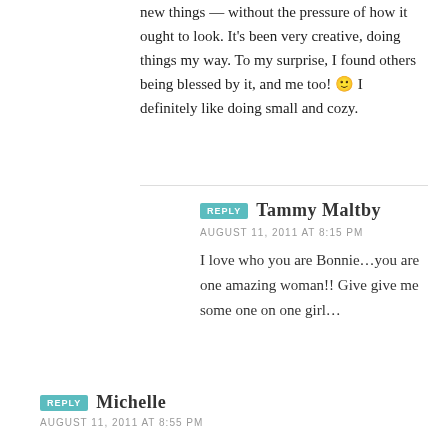new things — without the pressure of how it ought to look. It's been very creative, doing things my way. To my surprise, I found others being blessed by it, and me too! 🙂 I definitely like doing small and cozy.
REPLY  Tammy Maltby
AUGUST 11, 2011 AT 8:15 PM
I love who you are Bonnie…you are one amazing woman!! Give give me some one on one girl…
REPLY  Michelle
AUGUST 11, 2011 AT 8:55 PM